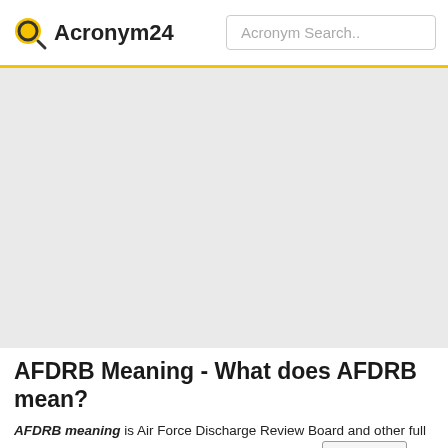Acronym24   Acronym Search..
[Figure (other): Advertisement gray placeholder area]
AFDRB Meaning - What does AFDRB mean?
AFDRB meaning is Air Force Discharge Review Board and other full form of AFDRB definition take part in below table. More Info ▶